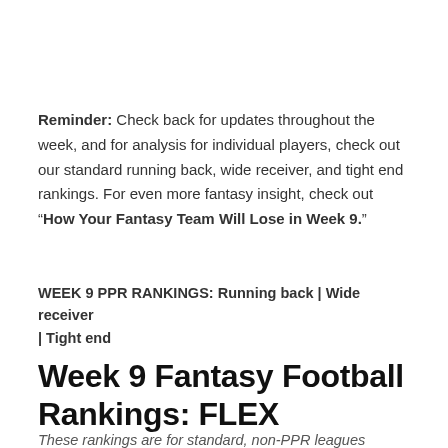Reminder: Check back for updates throughout the week, and for analysis for individual players, check out our standard running back, wide receiver, and tight end rankings. For even more fantasy insight, check out "How Your Fantasy Team Will Lose in Week 9."
WEEK 9 PPR RANKINGS: Running back | Wide receiver | Tight end
Week 9 Fantasy Football Rankings: FLEX
These rankings are for standard, non-PPR leagues